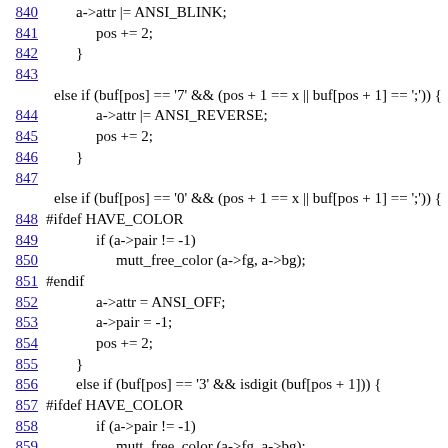840  a->attr |= ANSI_BLINK;
841      pos += 2;
842  }
843
else if (buf[pos] == '7' && (pos + 1 == x || buf[pos + 1] == ';')) {
844      a->attr |= ANSI_REVERSE;
845      pos += 2;
846  }
847
else if (buf[pos] == '0' && (pos + 1 == x || buf[pos + 1] == ';')) {
848 #ifdef HAVE_COLOR
849      if (a->pair != -1)
850        mutt_free_color (a->fg, a->bg);
851 #endif
852      a->attr = ANSI_OFF;
853      a->pair = -1;
854      pos += 2;
855  }
856      else if (buf[pos] == '3' && isdigit (buf[pos + 1])) {
857 #ifdef HAVE_COLOR
858      if (a->pair != -1)
859        mutt_free_color (a->fg, a->bg);
860 #endif
861      a->pair = -1;
862      a->attr |= ANSI_COLOR;
863  ...